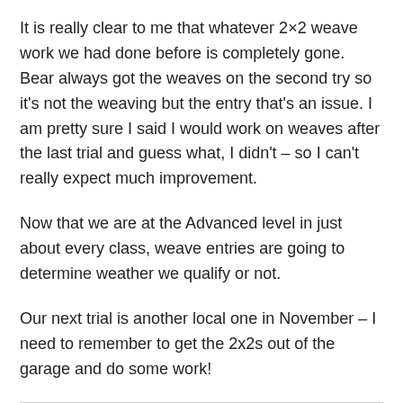It is really clear to me that whatever 2×2 weave work we had done before is completely gone. Bear always got the weaves on the second try so it's not the weaving but the entry that's an issue. I am pretty sure I said I would work on weaves after the last trial and guess what, I didn't – so I can't really expect much improvement.
Now that we are at the Advanced level in just about every class, weave entries are going to determine weather we qualify or not.
Our next trial is another local one in November – I need to remember to get the 2x2s out of the garage and do some work!
Share this: